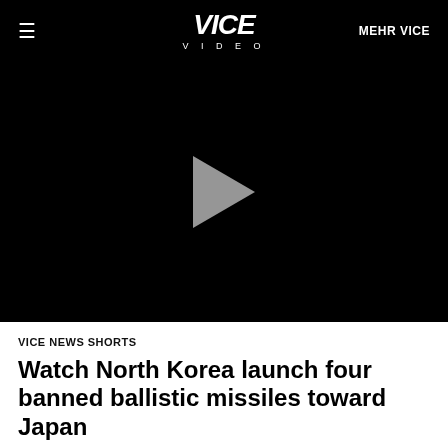≡  VICE VIDEO  MEHR VICE
[Figure (screenshot): Black video player area with a grey play button triangle in the center]
VICE NEWS SHORTS
Watch North Korea launch four banned ballistic missiles toward Japan
North Korea launched four forbidden missiles toward Japan on Monday, putting the region on edge. The missiles flew about